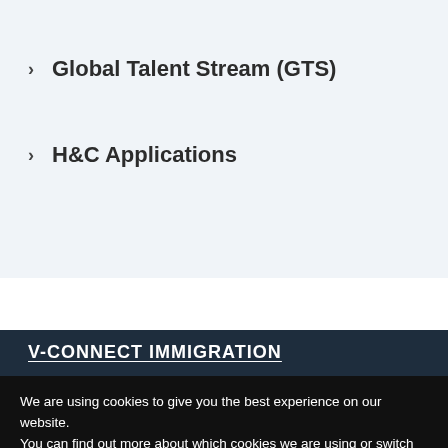> Global Talent Stream (GTS)
> H&C Applications
V-CONNECT IMMIGRATION
We are using cookies to give you the best experience on our website.
You can find out more about which cookies we are using or switch them off in settings.
[Figure (logo): WhatsApp circular green logo button]
pt